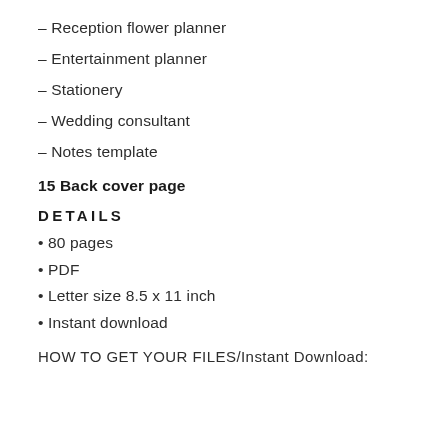– Reception flower planner
– Entertainment planner
– Stationery
– Wedding consultant
– Notes template
15 Back cover page
DETAILS
• 80 pages
• PDF
• Letter size 8.5 x 11 inch
• Instant download
HOW TO GET YOUR FILES/Instant Download: